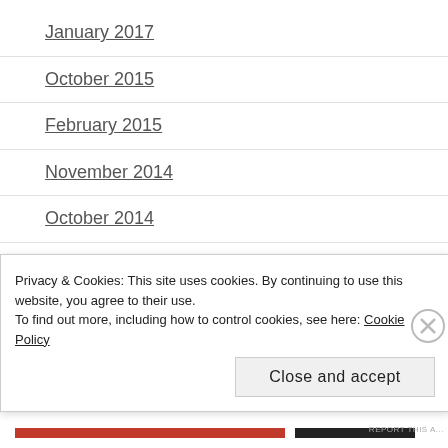January 2017
October 2015
February 2015
November 2014
October 2014
September 2014
August 2014
July 2014
June 2014
May 2014
Privacy & Cookies: This site uses cookies. By continuing to use this website, you agree to their use.
To find out more, including how to control cookies, see here: Cookie Policy
Close and accept